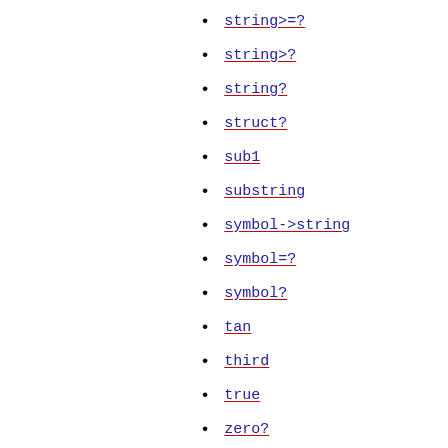string>=?
string>?
string?
struct?
sub1
substring
symbol->string
symbol=?
symbol?
tan
third
true
zero?